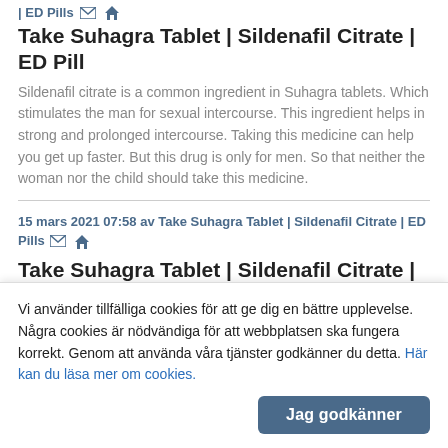| ED Pills ✉ 🏠
Take Suhagra Tablet | Sildenafil Citrate | ED Pill
Sildenafil citrate is a common ingredient in Suhagra tablets. Which stimulates the man for sexual intercourse. This ingredient helps in strong and prolonged intercourse. Taking this medicine can help you get up faster. But this drug is only for men. So that neither the woman nor the child should take this medicine.
15 mars 2021 07:58 av Take Suhagra Tablet | Sildenafil Citrate | ED Pills ✉ 🏠
Take Suhagra Tablet | Sildenafil Citrate | ED Pill
Sildenafil citrate is a common ingredient in Suhagra tablets. Which stimulates the man for sexual intercourse. This ingredient helps in strong and prolonged intercourse. Taking this medicine
Vi använder tillfälliga cookies för att ge dig en bättre upplevelse. Några cookies är nödvändiga för att webbplatsen ska fungera korrekt. Genom att använda våra tjänster godkänner du detta. Här kan du läsa mer om cookies.